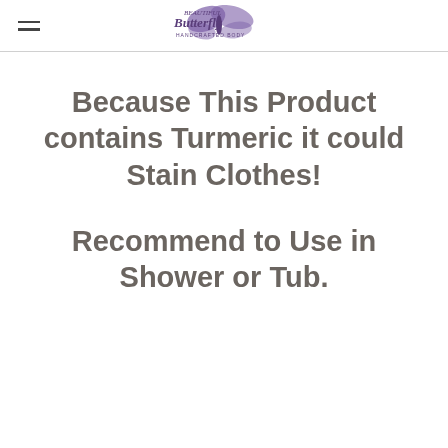Beautiful Butterfly [logo]
Because This Product contains Turmeric it could Stain Clothes!
Recommend to Use in Shower or Tub.